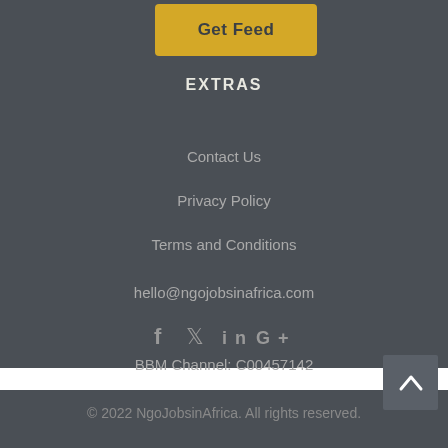Get Feed
EXTRAS
Contact Us
Privacy Policy
Terms and Conditions
hello@ngojobsinafrica.com
[Figure (infographic): Social media icons: Facebook, Twitter, LinkedIn, Google+]
BBM Channel: C00457142
© 2022 NgoJobsinAfrica. All rights reserved.